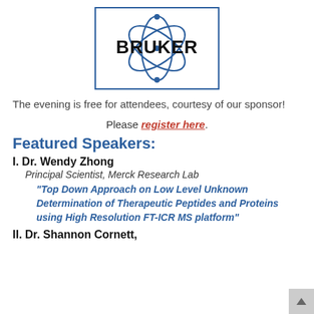[Figure (logo): Bruker logo with atomic orbit symbol in blue and bold black BRUKER text, inside a blue rectangle border]
The evening is free for attendees, courtesy of our sponsor!
Please register here.
Featured Speakers:
I. Dr. Wendy Zhong
Principal Scientist, Merck Research Lab
“Top Down Approach on Low Level Unknown Determination of Therapeutic Peptides and Proteins using High Resolution FT-ICR MS platform”
II. Dr. Shannon Cornett,